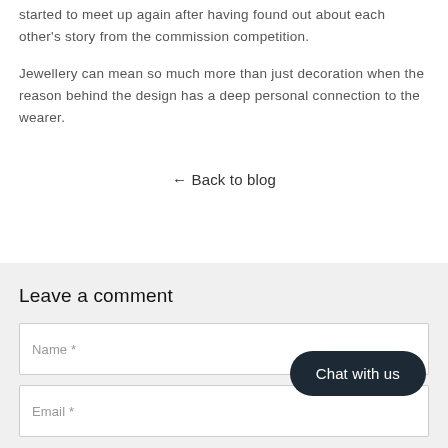started to meet up again after having found out about each other's story from the commission competition.
Jewellery can mean so much more than just decoration when the reason behind the design has a deep personal connection to the wearer.
← Back to blog
Leave a comment
Name *
Email *
Chat with us